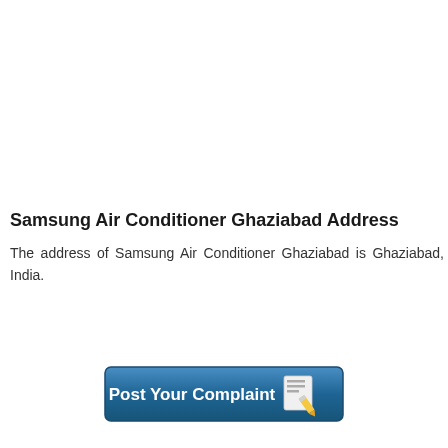Samsung Air Conditioner Ghaziabad Address
The address of Samsung Air Conditioner Ghaziabad is Ghaziabad, India.
[Figure (other): A blue rounded rectangular button with the text 'Post Your Complaint' and a notepad-with-pencil emoji icon]